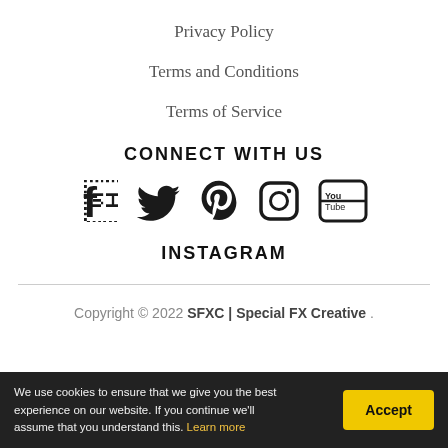Privacy Policy
Terms and Conditions
Terms of Service
CONNECT WITH US
[Figure (illustration): Social media icons: Facebook, Twitter, Pinterest, Instagram, YouTube]
INSTAGRAM
Copyright © 2022 SFXC | Special FX Creative .
We use cookies to ensure that we give you the best experience on our website. If you continue we'll assume that you understand this. Learn more